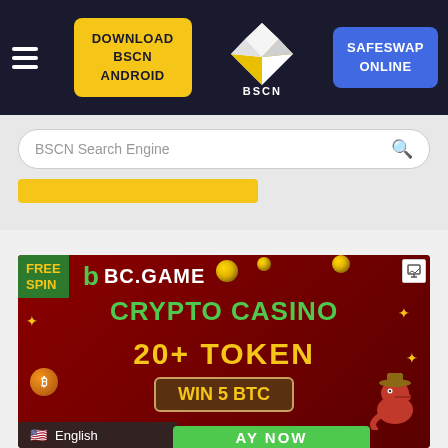[Figure (screenshot): BSCN website navigation bar with hamburger menu, Download BSCN Android button, BSCN diamond logo in center, and SafeSwap Online button]
[Figure (screenshot): BSCN Search Engine search bar with magnifying glass icon and yellow filter button below]
[Figure (screenshot): BC.Game casino advertisement banner showing FREE SPIN, BC.GAME logo, CRYPTO CASINO 20+ TOKEN text in green and yellow, WIN 5 BTC button, decorative coins and a cartoon cowboy alligator, with English language selector and PLAY NOW button at bottom]